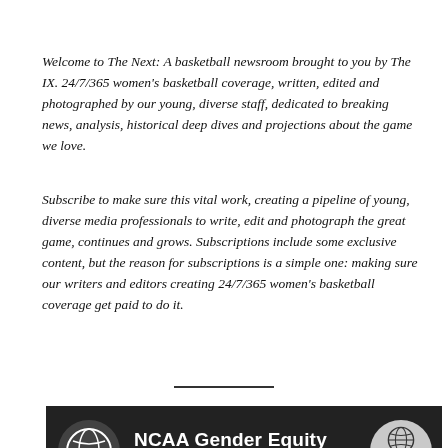Welcome to The Next: A basketball newsroom brought to you by The IX. 24/7/365 women's basketball coverage, written, edited and photographed by our young, diverse staff, dedicated to breaking news, analysis, historical deep dives and projections about the game we love.
Subscribe to make sure this vital work, creating a pipeline of young, diverse media professionals to write, edit and photograph the great game, continues and grows. Subscriptions include some exclusive content, but the reason for subscriptions is a simple one: making sure our writers and editors creating 24/7/365 women's basketball coverage get paid to do it.
[Figure (screenshot): Video thumbnail showing 'NCAA Gender Equity BBALL Report' with The Next / The IX branding logos on dark background]